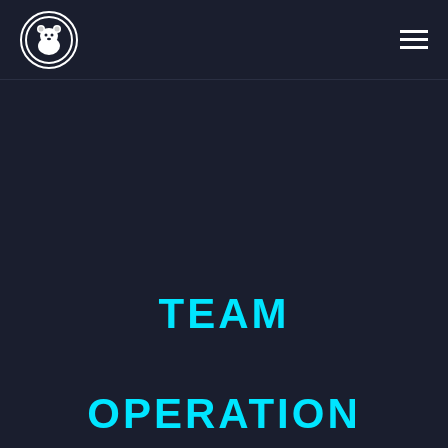Angry Polar Bear logo and navigation menu
TEAM
OPERATION